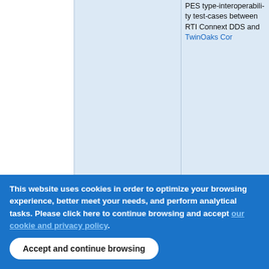|  |  | PES type-interoperability test-cases between RTI Connext DDS and TwinOaks Cor... |
| --- | --- | --- |
|  |  | PES type-interoperability test-cases between RTI Connext DDS and TwinOaks Cor... |
This website uses cookies in order to optimize your browsing experience, better meet your needs, and perform analytical tasks. Please click here to continue browsing and accept [our cookie and privacy policy].
Accept and continue browsing